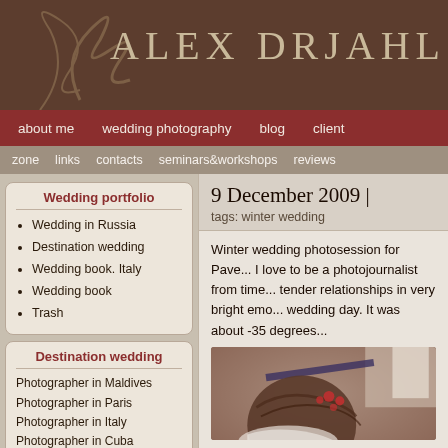ALEX DRJAHL
about me | wedding photography | blog | client | zone | links | contacts | seminars&workshops | reviews
Wedding portfolio
Wedding in Russia
Destination wedding
Wedding book. Italy
Wedding book
Trash
Destination wedding
Photographer in Maldives
Photographer in Paris
Photographer in Italy
Photographer in Cuba
Photographer in Fiji
Photographer in Bali
Photographer in Greece

Engagement photosession
9 December 2009 |
tags: winter wedding
Winter wedding photosession for Pave... I love to be a photojournalist from time... tender relationships in very bright emo... wedding day. It was about -35 degrees...
[Figure (photo): Wedding photo - back of bride's head with flower hair accessory, blurred background]